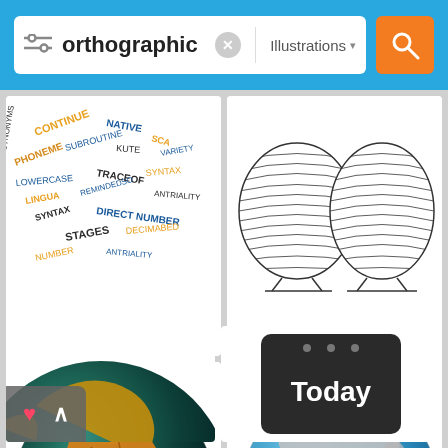[Figure (screenshot): Mobile app search interface showing search bar with 'orthographic' query, Illustrations filter, and orange search button on blue background]
[Figure (illustration): Word cloud illustration with programming/linguistics terms in various colors and sizes]
[Figure (illustration): Orthographic projection line drawing of two hemisphere shapes]
[Figure (illustration): Painted globe showing Africa and Europe continents in yellow/orange on teal/dark background]
[Figure (illustration): 3D rendered globe showing Europe centered with France flag marker, blue oceans and gray landmasses]
[Figure (illustration): Partial painted globe visible in bottom left corner]
[Figure (illustration): Dark calendar/today card showing 'Today' text in white]